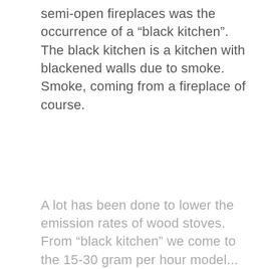semi-open fireplaces was the occurrence of a “black kitchen”. The black kitchen is a kitchen with blackened walls due to smoke. Smoke, coming from a fireplace of course.
A lot has been done to lower the emission rates of wood stoves. From “black kitchen” we come to the 15-30 gram per hour model...